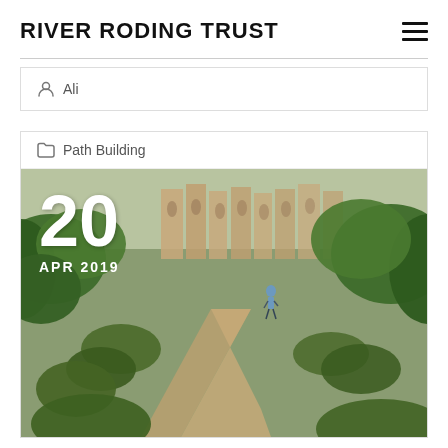RIVER RODING TRUST
Ali
Path Building
[Figure (photo): Outdoor path winding through greenery with a person walking in the background and brick buildings visible. Date overlay shows 20 APR 2019.]